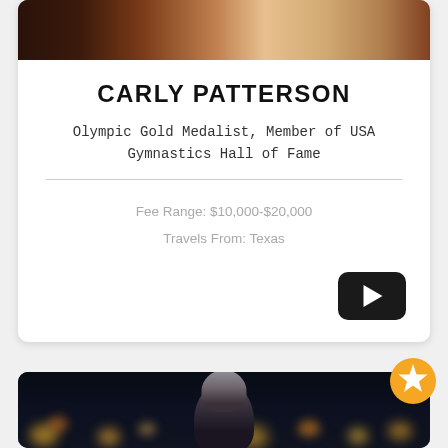[Figure (photo): Cropped top of head / hair of a person (Carly Patterson), showing the upper portion of a portrait photo]
CARLY PATTERSON
Olympic Gold Medalist, Member of USA Gymnastics Hall of Fame
Fee Range: $10,000-$20,000
Travels From: Texas
[Figure (other): YouTube-style play button (dark rounded rectangle with white play triangle)]
[Figure (photo): Portrait photo of a man in a suit against a blurred city lights background at night, with a gold star badge overlay in the top right corner]